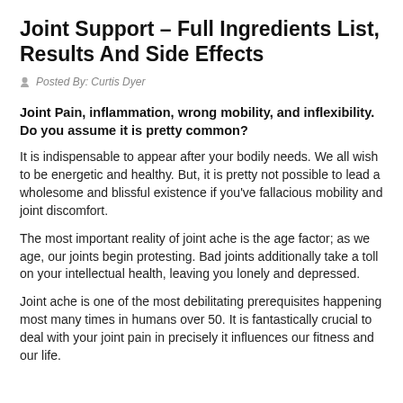Joint Support – Full Ingredients List, Results And Side Effects
Posted By: Curtis Dyer
Joint Pain, inflammation, wrong mobility, and inflexibility. Do you assume it is pretty common?
It is indispensable to appear after your bodily needs. We all wish to be energetic and healthy. But, it is pretty not possible to lead a wholesome and blissful existence if you've fallacious mobility and joint discomfort.
The most important reality of joint ache is the age factor; as we age, our joints begin protesting. Bad joints additionally take a toll on your intellectual health, leaving you lonely and depressed.
Joint ache is one of the most debilitating prerequisites happening most many times in humans over 50. It is fantastically crucial to deal with your joint pain in precisely it influences our fitness and our life.